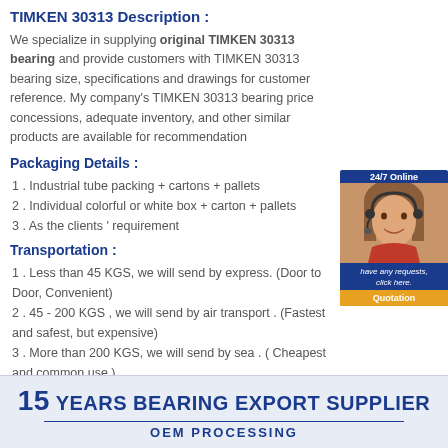TIMKEN 30313 Description :
We specialize in supplying original TIMKEN 30313 bearing and provide customers with TIMKEN 30313 bearing size, specifications and drawings for customer reference. My company's TIMKEN 30313 bearing price concessions, adequate inventory, and other similar products are available for recommendation
[Figure (photo): Customer service representative with headset, 24/7 Online badge, with text 'have any requests, click here.' and Quotation button]
Packaging Details :
1 . Industrial tube packing + cartons + pallets
2 . Individual colorful or white box + carton + pallets
3 . As the clients ' requirement
Transportation :
1 . Less than 45 KGS, we will send by express. (Door to Door, Convenient)
2 . 45 - 200 KGS , we will send by air transport . (Fastest and safest, but expensive)
3 . More than 200 KGS, we will send by sea . ( Cheapest and common use )
[Figure (infographic): Banner reading '15 YEARS BEARING EXPORT SUPPLIER' with 'OEM PROCESSING' subtitle on light blue background]